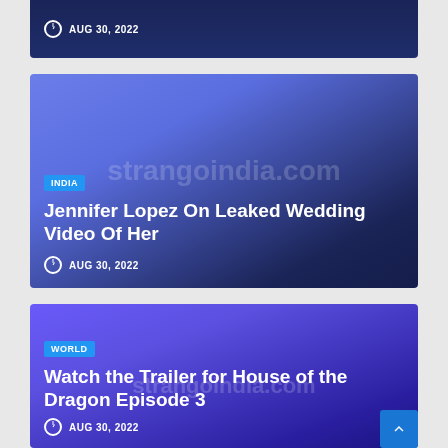AUG 30, 2022
[Figure (screenshot): News article card for Jennifer Lopez On Leaked Wedding Video Of Her, tagged INDIA, dated AUG 30, 2022, with blue-to-navy gradient background and strangoindia.com watermark]
[Figure (screenshot): News article card for Watch the Trailer for House of the Dragon Episode 3, tagged WORLD, dated AUG 30, 2022, with purple-to-dark gradient background and strangoindia.com watermark]